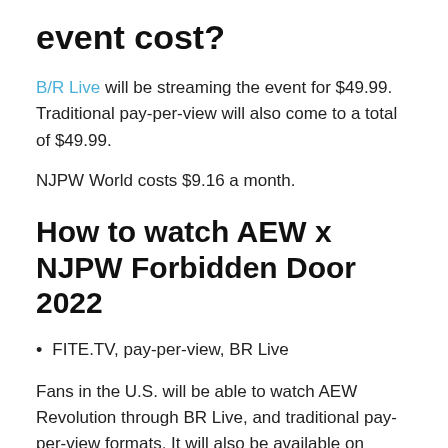event cost?
B/R Live will be streaming the event for $49.99. Traditional pay-per-view will also come to a total of $49.99.
NJPW World costs $9.16 a month.
How to watch AEW x NJPW Forbidden Door 2022
FITE.TV, pay-per-view, BR Live
Fans in the U.S. will be able to watch AEW Revolution through BR Live, and traditional pay-per-view formats. It will also be available on FITE.tv outside of the U.S.